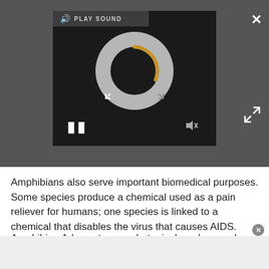[Figure (screenshot): A media player interface with dark background showing a loading/spinner animation circle with a gold/orange arc, a pause button, volume icon, PLAY SOUND label with speaker icon, a close X button, and expand arrows button.]
Amphibians also serve important biomedical purposes. Some species produce a chemical used as a pain reliever for humans; one species is linked to a chemical that disables the virus that causes AIDS.
Amphibian Ark wants zoos, botanical gardens and aquariums in each country to take in at least 500 frogs from a threatened species to protect them from